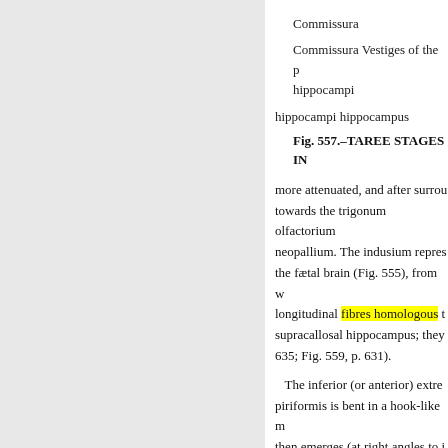Commissura
Commissura Vestiges of the p[...] hippocampi
hippocampi hippocampus
Fig. 557.–TAREE STAGES IN[...]
more attenuated, and after surrou towards the trigonum olfactorium neopallium. The indusium repres the fætal brain (Fig. 555), from w longitudinal fibres homologous t supracallosal hippocampus; they 635; Fig. 559, p. 631).
The inferior (or anterior) extre piriformis is bent in a hook-like m then emerges (at right angles to i the cauda fasciæ dentatæ. Behind turned inside out, hippocampus i little knob of solid gray matter ap amygdala (Fig. 558).